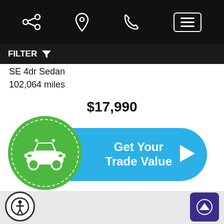[Figure (screenshot): Mobile app top navigation bar with share, location, phone, and menu icons on black background]
FILTER
SE 4dr Sedan
102,064 miles
$17,990
[Figure (illustration): Green circle with white car icon overlapping a blue pill-shaped button reading 'Get Your Trade Value' with a right arrow]
Location: Lewiston Location
Text Us!
Chat with Us!
[Figure (illustration): Accessibility icon button (person in circle) and up-arrow scroll button]